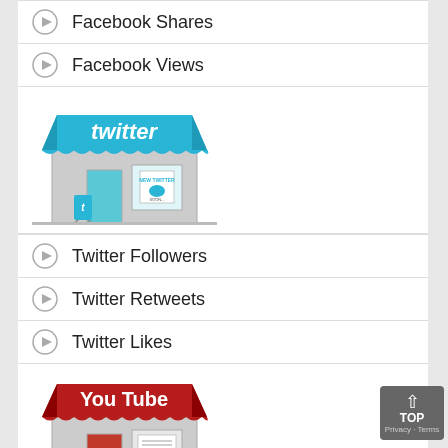Facebook Shares
Facebook Views
[Figure (illustration): Twitter storefront illustration with blue awning labeled 'twitter' and a storefront window]
Twitter Followers
Twitter Retweets
Twitter Likes
[Figure (illustration): YouTube storefront illustration with red awning labeled 'You Tube']